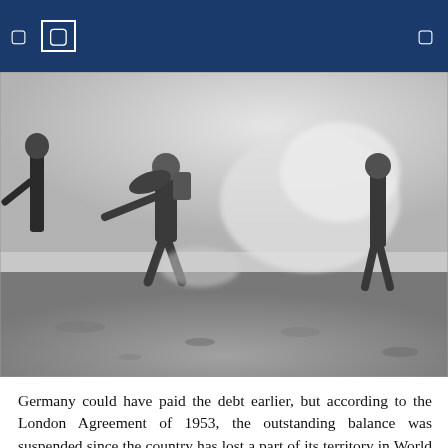navigation icons
[Figure (photo): Black and white photograph of soldiers in combat, one carrying another through a dusty or smoky battlefield environment.]
Germany could have paid the debt earlier, but according to the London Agreement of 1953, the outstanding balance was suspended since the country has lost a part of its territory in World War